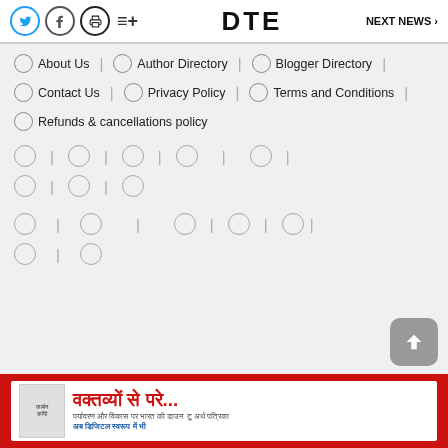DTE | NEXT NEWS
About Us
Author Directory
Blogger Directory
Contact Us
Privacy Policy
Terms and Conditions
Refunds & cancellations policy
[Figure (other): Globe icon row placeholders (links not loaded)]
[Figure (other): Globe icon row placeholders (links not loaded)]
[Figure (other): Scroll to top button]
[Figure (other): Advertisement banner in Hindi: वक्तव्यों से परे...]